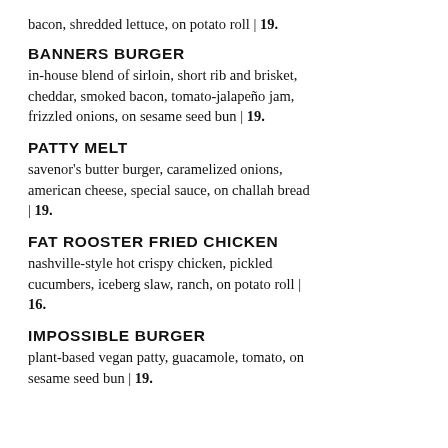bacon, shredded lettuce, on potato roll | 19.
BANNERS BURGER
in-house blend of sirloin, short rib and brisket, cheddar, smoked bacon, tomato-jalapeño jam, frizzled onions, on sesame seed bun | 19.
PATTY MELT
savenor's butter burger, caramelized onions, american cheese, special sauce, on challah bread | 19.
FAT ROOSTER FRIED CHICKEN
nashville-style hot crispy chicken, pickled cucumbers, iceberg slaw, ranch, on potato roll | 16.
IMPOSSIBLE BURGER
plant-based vegan patty, guacamole, tomato, on sesame seed bun | 19.